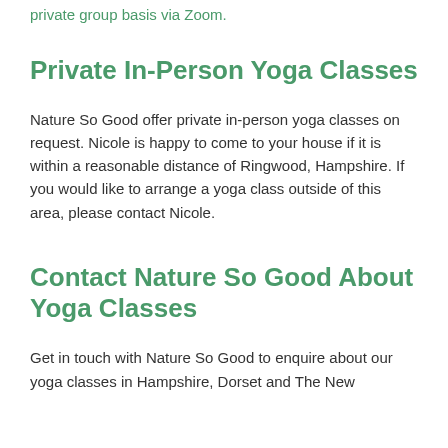private group basis via Zoom.
Private In-Person Yoga Classes
Nature So Good offer private in-person yoga classes on request. Nicole is happy to come to your house if it is within a reasonable distance of Ringwood, Hampshire. If you would like to arrange a yoga class outside of this area, please contact Nicole.
Contact Nature So Good About Yoga Classes
Get in touch with Nature So Good to enquire about our yoga classes in Hampshire, Dorset and The New Forest. Send us this request...